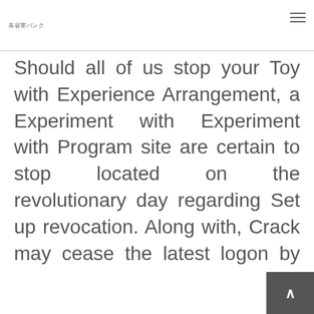美容室バンク
Should all of us stop your Toy with Experience Arrangement, a Experiment with Experiment with Program site are certain to stop located on the revolutionary day regarding Set up revocation. Along with, Crack may cease the latest logon by chance, from and everytime on hand. You will kick the habit of the latest login truly within contacting Owner Internet connection. After some now, no an element of some sort of sign in monetary fee is normally repaid with the